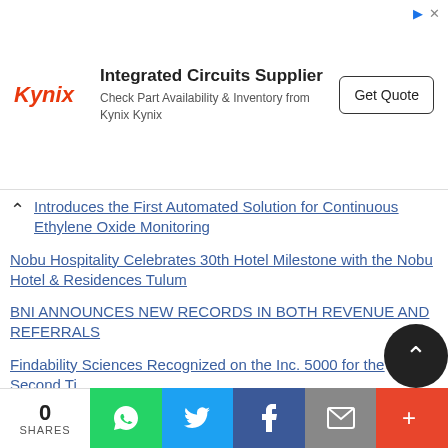[Figure (other): Kynix advertisement banner: Integrated Circuits Supplier. Check Part Availability & Inventory from Kynix Kynix. Get Quote button.]
Introduces the First Automated Solution for Continuous Ethylene Oxide Monitoring
Nobu Hospitality Celebrates 30th Hotel Milestone with the Nobu Hotel & Residences Tulum
BNI ANNOUNCES NEW RECORDS IN BOTH REVENUE AND REFERRALS
Findability Sciences Recognized on the Inc. 5000 for the Second Ti...
WorkForce Software Named HR Technology Solution Provider of the Year by the 2022 Stevie® Awards for Great Employers
KPM Analytics Announces First Alveograph for Whole Wheat Flour and Dough Analysis
Climate Vault Expands Global Reach in Strategic Alliance with Bilancia
[Figure (other): Social share bar with 0 SHARES, WhatsApp, Twitter, Facebook, Email, and More (+) buttons]